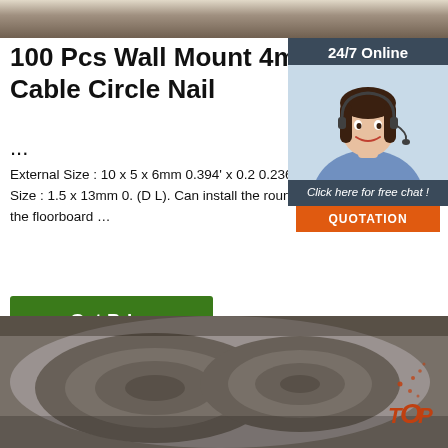[Figure (photo): Top partial image of metal rails or industrial material, brown/grey tones]
100 Pcs Wall Mount 4mm Dia Electric Cable Circle Nail ...
External Size : 10 x 5 x 6mm 0.394' x 0.2 0.236' (L W H);Nail Size : 1.5 x 13mm 0. (D L). Can install the round cables to the the floorboard …
[Figure (illustration): 24/7 Online chat widget with customer service agent photo, 'Click here for free chat!' text, and QUOTATION button]
Get Price
[Figure (photo): Bottom image showing steel coils/rolls, grey industrial metal, with TOP logo overlay in orange]